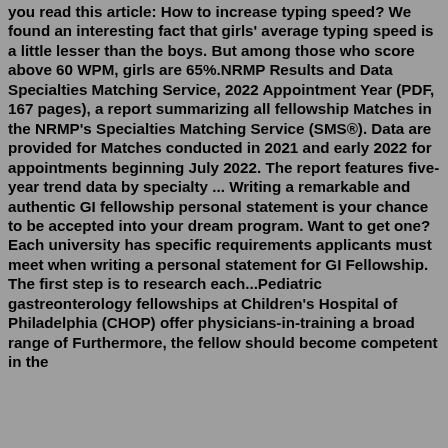you read this article: How to increase typing speed? We found an interesting fact that girls' average typing speed is a little lesser than the boys. But among those who score above 60 WPM, girls are 65%.NRMP Results and Data Specialties Matching Service, 2022 Appointment Year (PDF, 167 pages), a report summarizing all fellowship Matches in the NRMP's Specialties Matching Service (SMS®). Data are provided for Matches conducted in 2021 and early 2022 for appointments beginning July 2022. The report features five-year trend data by specialty ... Writing a remarkable and authentic GI fellowship personal statement is your chance to be accepted into your dream program. Want to get one? Each university has specific requirements applicants must meet when writing a personal statement for GI Fellowship. The first step is to research each...Pediatric gastreonterology fellowships at Children's Hospital of Philadelphia (CHOP) offer physicians-in-training a broad range of Furthermore, the fellow should become competent in the